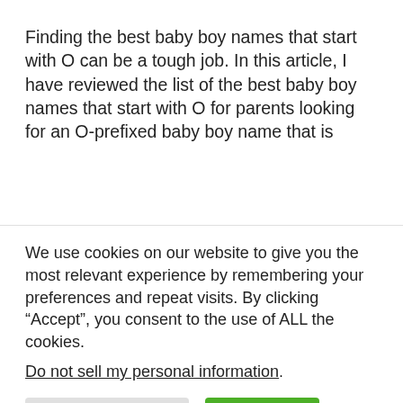Finding the best baby boy names that start with O can be a tough job. In this article, I have reviewed the list of the best baby boy names that start with O for parents looking for an O-prefixed baby boy name that is
We use cookies on our website to give you the most relevant experience by remembering your preferences and repeat visits. By clicking “Accept”, you consent to the use of ALL the cookies.
Do not sell my personal information.